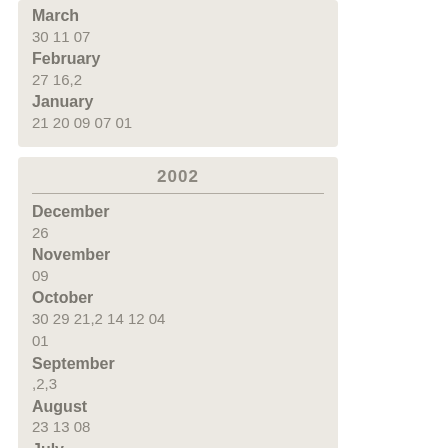| Month | Dates |
| --- | --- |
| March | 30 11 07 |
| February | 27 16,2 |
| January | 21 20 09 07 01 |
2002
| Month | Dates |
| --- | --- |
| December | 26 |
| November | 09 |
| October | 30 29 21,2 14 12 04 01 |
| September | ,2,3 |
| August | 23 13 08 |
| July | 26 22,2 |
| June | ,2 12 09,2 08 07,2,3,4 05 |
| May | 17 14,2 13 07 06 01,2 |
| April |  |